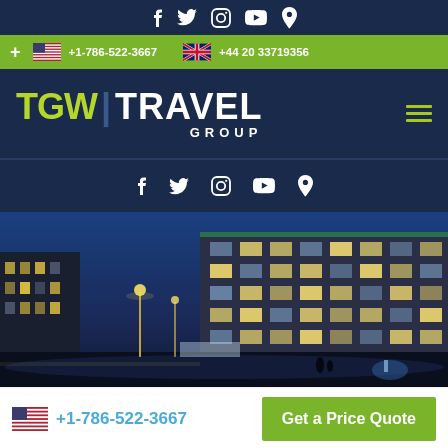TGW Travel Group - social icons top bar
+1-786-522-3667  +44 20 33719356
TGW | TRAVEL GROUP
Social icons: f, twitter, instagram, youtube, pinterest
[Figure (photo): Night cityscape with illuminated hotel/office buildings, street lights, and an urban plaza]
+1-786-522-3667
Get a Price Quote